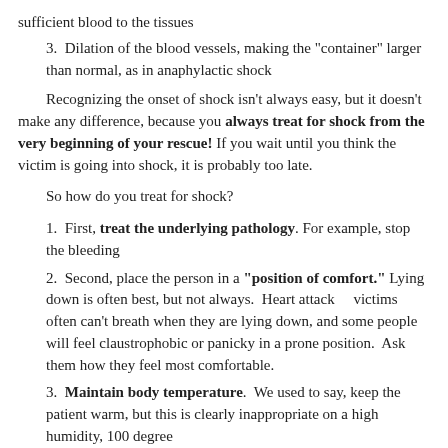sufficient blood to the tissues
3.  Dilation of the blood vessels, making the "container" larger than normal, as in anaphylactic shock
Recognizing the onset of shock isn't always easy, but it doesn't make any difference, because you always treat for shock from the very beginning of your rescue! If you wait until you think the victim is going into shock, it is probably too late.
So how do you treat for shock?
1.  First, treat the underlying pathology. For example, stop the bleeding
2.  Second, place the person in a "position of comfort." Lying down is often best, but not always. Heart attack victims often can't breath when they are lying down, and some people will feel claustrophobic or panicky in a prone position. Ask them how they feel most comfortable.
3.  Maintain body temperature. We used to say, keep the patient warm, but this is clearly inappropriate on a high humidity, 100 degree